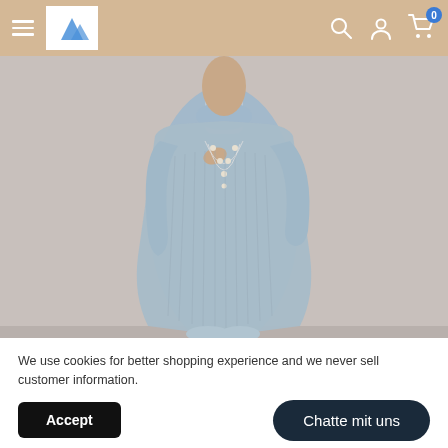[Figure (screenshot): E-commerce website navigation bar with hamburger menu, logo, search icon, account icon, and cart icon with badge showing 0]
[Figure (photo): Woman wearing a light blue/grey knit bodycon turtleneck dress with long sleeves and pearl necklace, standing against a light background]
We use cookies for better shopping experience and we never sell customer information.
Accept
Chatte mit uns